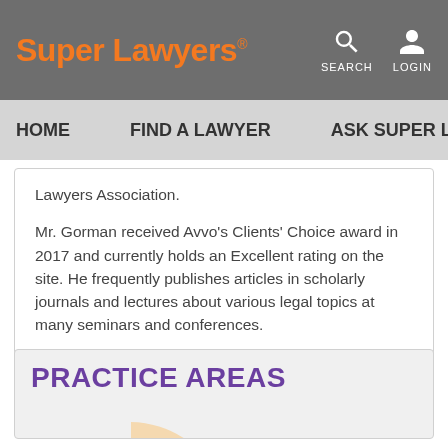Super Lawyers® | SEARCH | LOGIN | HOME | FIND A LAWYER | ASK SUPER L...
Lawyers Association.
Mr. Gorman received Avvo's Clients' Choice award in 2017 and currently holds an Excellent rating on the site. He frequently publishes articles in scholarly journals and lectures about various legal topics at many seminars and conferences.
PRACTICE AREAS
[Figure (pie-chart): Partial pie chart showing practice areas, with an orange slice and a light/cream colored slice visible]